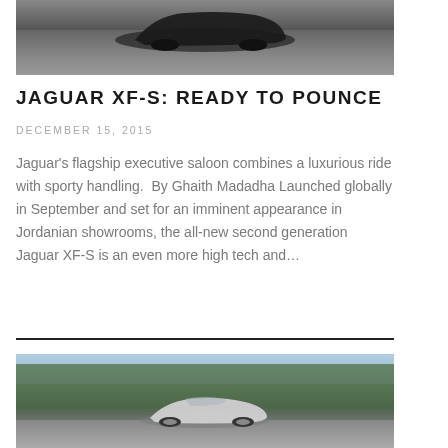[Figure (photo): Top portion of a dark sports car on a race track, shot from above, with red and grey track surface visible.]
JAGUAR XF-S: READY TO POUNCE
DECEMBER 15, 2015
Jaguar's flagship executive saloon combines a luxurious ride with sporty handling.  By Ghaith Madadha Launched globally in September and set for an imminent appearance in Jordanian showrooms, the all-new second generation Jaguar XF-S is an even more high tech and…
[Figure (photo): A silver sports car driving on a road with trees and blue sky in the background.]